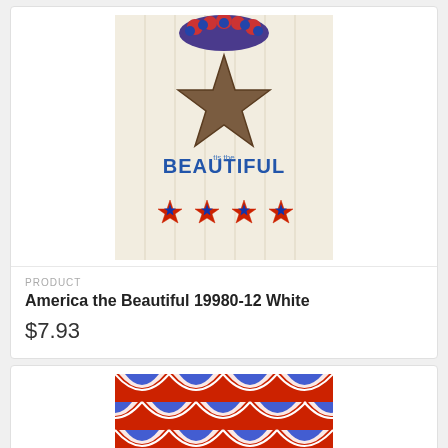[Figure (photo): Product image of America the Beautiful fabric with barn star and BEAUTIFUL text, patriotic stars at bottom]
PRODUCT
America the Beautiful 19980-12 White
$7.93
[Figure (photo): Red, white, and blue patriotic fan/scallop pattern fabric with stars]